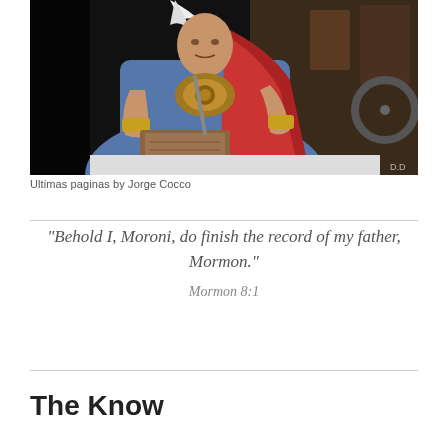[Figure (illustration): Painting of a man in ancient warrior/scribe attire (blue and red robe, gold bracers) engraving or writing on a stone tablet, holding a tool, with ancient artifacts in the background. Painting style illustration by Jorge Cocco.]
Ultimas paginas by Jorge Cocco
“Behold I, Moroni, do finish the record of my father, Mormon.”
Mormon 8:1
The Know